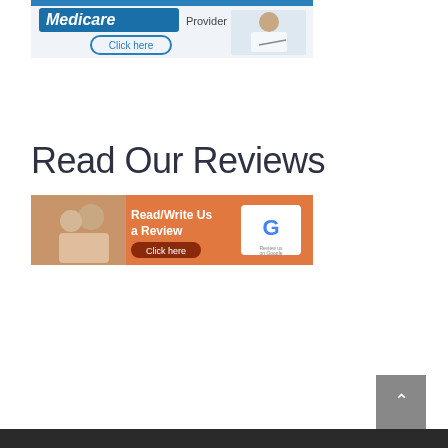[Figure (illustration): Medicare Provider banner ad with 'Click here' button and image of person at computer]
Read Our Reviews
[Figure (illustration): Orange banner with smiling couple, text 'Read/Write Us a Review', 'Click here' button in dark red, and Google logo with 'Review us on Google']